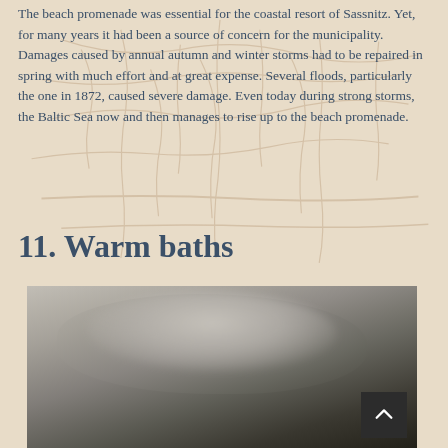The beach promenade was essential for the coastal resort of Sassnitz. Yet, for many years it had been a source of concern for the municipality. Damages caused by annual autumn and winter storms had to be repaired in spring with much effort and at great expense. Several floods, particularly the one in 1872, caused severe damage. Even today during strong storms, the Baltic Sea now and then manages to rise up to the beach promenade.
11. Warm baths
[Figure (photo): A blurred/defocused photograph showing what appears to be a dark, moody scene — possibly water, rocks, or a cave interior — with grey and black tones and a blurred light shape in the upper center.]